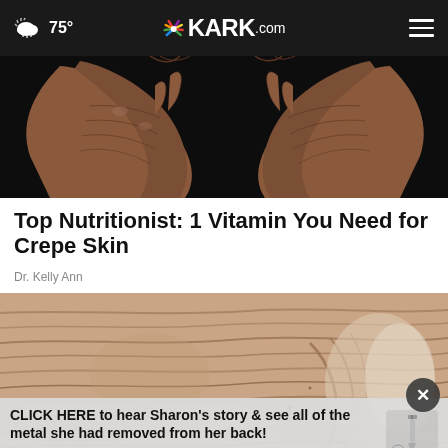75° KARK.com
[Figure (photo): Close-up of elderly wrinkled hands against dark background]
Top Nutritionist: 1 Vitamin You Need for Crepe Skin
Dr. Kelly Ann
[Figure (photo): Close-up of crepe/wrinkled skin texture on elderly face]
CLICK HERE to hear Sharon's story & see all of the metal she had removed from her back! WATCH NOW